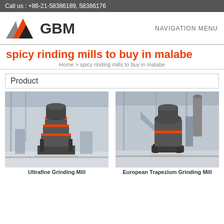Call us : +86-21-58386189, 58386176
[Figure (logo): GBM logo with orange and grey triangular mountain shapes and bold GBM text]
spicy rinding mills to buy in malabe
Home > spicy rinding mills to buy in malabe
Product
[Figure (photo): Ultrafine Grinding Mill industrial machine in factory hall]
Ultrafine Grinding Mill
[Figure (photo): European Trapezium Grinding Mill industrial machine in factory hall]
European Trapezium Grinding Mill